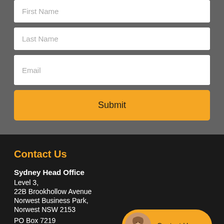[Figure (screenshot): Web form section with gray background showing Last Name input field, Email input field, and a yellow Submit button]
Contact Us
Sydney Head Office
Level 3,
22B Brookhollow Avenue
Norwest Business Park,
Norwest NSW 2153
PO Box 7219
[Figure (infographic): Contact Us button widget with circular avatar photo of a woman and orange pill-shaped button reading Contact Us]